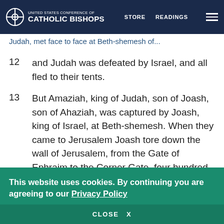UNITED STATES CONFERENCE OF CATHOLIC BISHOPS | STORE | READINGS
Judah, met face to face at Beth-shemesh of...
12  and Judah was defeated by Israel, and all fled to their tents.
13  But Amaziah, king of Judah, son of Joash, son of Ahaziah, was captured by Joash, king of Israel, at Beth-shemesh. When they came to Jerusalem Joash tore down the wall of Jerusalem, from the Gate of Ephraim to the Corner Gate, four hundred cubits.
14  ...
This website uses cookies. By continuing you are agreeing to our Privacy Policy
CLOSE  X